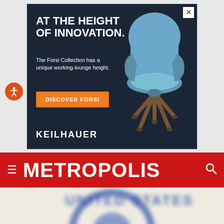[Figure (illustration): Keilhauer advertisement featuring a blue lounge chair on dark navy background. Text reads 'AT THE HEIGHT OF INNOVATION. The Forsi Collection has a unique working-lounge height.' with an orange 'DISCOVER FORSI' button and KEILHAUER brand name.]
[Figure (logo): Metropolis magazine navigation bar with red background, hamburger menu icon on left, METROPOLIS logo in white bold/impact font, and search icon on right.]
[Figure (photo): Blurred close-up of a circular United States seal/stamp showing text 'UNITED STATES' in blue letters on a light background.]